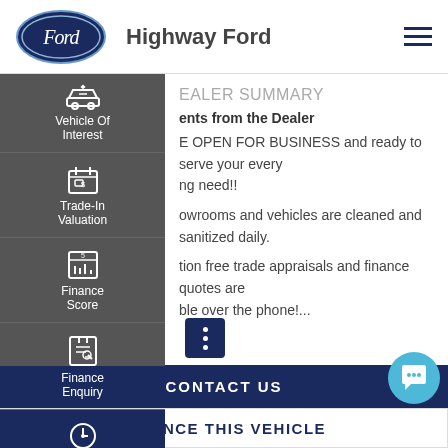[Figure (logo): Ford oval logo in dark navy blue with 'Ford' script lettering]
Highway Ford
[Figure (infographic): Navigation sidebar with icons: Vehicle Of Interest, Trade-In Valuation, Finance Score, Finance Enquiry, Book A Test Drive]
DEALER SUMMARY
Comments from the Dealer
ARE OPEN FOR BUSINESS and ready to serve your every ...ng need!!
...owrooms and vehicles are cleaned and sanitized daily.
...tion free trade appraisals and finance quotes are ...ble over the phone!...
CONTACT US
FINANCE THIS VEHICLE